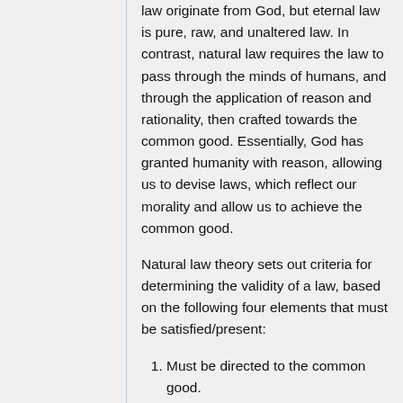law originate from God, but eternal law is pure, raw, and unaltered law. In contrast, natural law requires the law to pass through the minds of humans, and through the application of reason and rationality, then crafted towards the common good. Essentially, God has granted humanity with reason, allowing us to devise laws, which reflect our morality and allow us to achieve the common good.
Natural law theory sets out criteria for determining the validity of a law, based on the following four elements that must be satisfied/present:
Must be directed to the common good.
Must follow practical reason (reasonable steps leading to the common good).